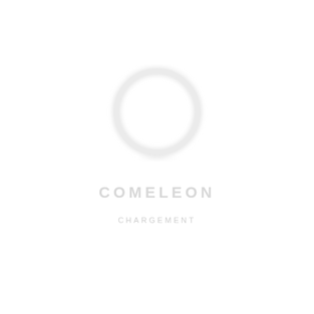[Figure (logo): Comeleon Chargement logo: a faint white circle ring above the brand name text]
COMELEON
CHARGEMENT